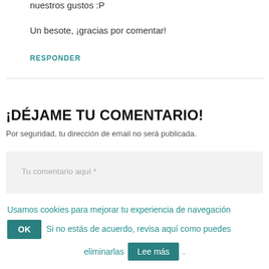nuestros gustos :P
Un besote, ¡gracias por comentar!
RESPONDER
¡DÉJAME TU COMENTARIO!
Por seguridad, tu dirección de email no será publicada.
Tu comentario aquí *
Usamos cookies para mejorar tu experiencia de navegación Si no estás de acuerdo, revisa aquí como puedes eliminarlas Lee más .